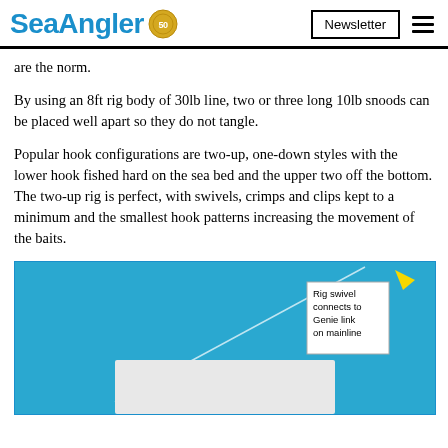SeaAngler [50th anniversary logo] | Newsletter [hamburger menu]
are the norm.
By using an 8ft rig body of 30lb line, two or three long 10lb snoods can be placed well apart so they do not tangle.
Popular hook configurations are two-up, one-down styles with the lower hook fished hard on the sea bed and the upper two off the bottom. The two-up rig is perfect, with swivels, crimps and clips kept to a minimum and the smallest hook patterns increasing the movement of the baits.
[Figure (illustration): Diagram of a fishing rig on a blue sea background, showing a diagonal line representing the mainline with a yellow arrow pointing to a callout box labelled 'Rig swivel connects to Genie link on mainline', and a white panel at the bottom of the image.]